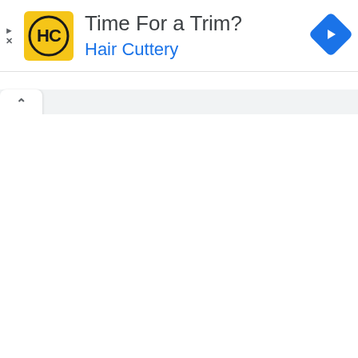[Figure (infographic): Advertisement banner for Hair Cuttery. Yellow square logo with 'HC' letters in a circle on the left. Headline text 'Time For a Trim?' in dark gray. Brand name 'Hair Cuttery' in blue. Blue diamond navigation arrow icon on the right. Small play and X icons on far left edge.]
[Figure (screenshot): Browser tab bar showing a single open white tab with an upward chevron arrow icon, on a light gray background.]